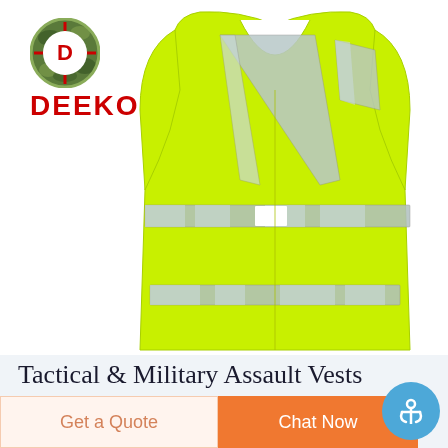[Figure (logo): DEEKON brand logo: camouflage circle with red D letter, with red bold text DEEKON below]
[Figure (photo): High-visibility safety vest in neon yellow-green with silver reflective strips, sleeveless, V-neck, displayed on white background]
Tactical & Military Assault Vests
Get a Quote
Chat Now